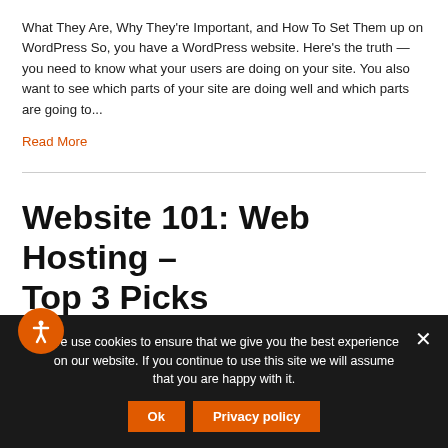What They Are, Why They're Important, and How To Set Them up on WordPress So, you have a WordPress website. Here's the truth — you need to know what your users are doing on your site. You also want to see which parts of your site are doing well and which parts are going to...
Read More
Website 101: Web Hosting – Top 3 Picks
By Ryan Berkness | September 20, 2021
We use cookies to ensure that we give you the best experience on our website. If you continue to use this site we will assume that you are happy with it.